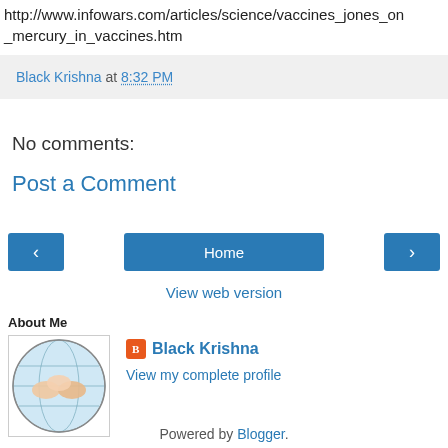http://www.infowars.com/articles/science/vaccines_jones_on_mercury_in_vaccines.htm
Black Krishna at 8:32 PM
No comments:
Post a Comment
< Home >
View web version
About Me
[Figure (illustration): Building Relationships logo - circular globe with hands]
Black Krishna
View my complete profile
Powered by Blogger.